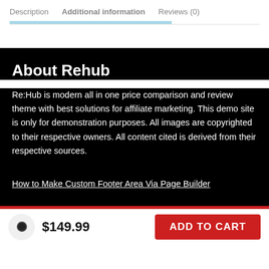Description    Additional information    Reviews (0)
About Rehub
Re:Hub is modern all in one price comparison and review theme with best solutions for affiliate marketing. This demo site is only for demonstration purposes. All images are copyrighted to their respective owners. All content cited is derived from their respective sources.
How to Make Custom Footer Area Via Page Builder
$149.99  ADD TO CART